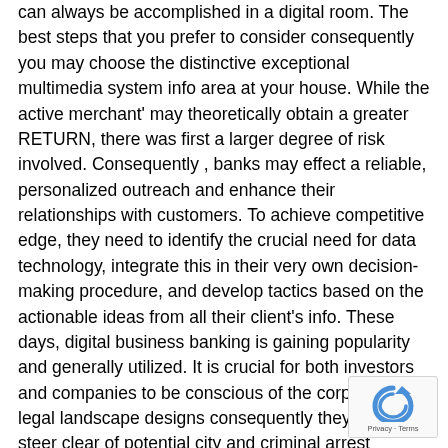can always be accomplished in a digital room. The best steps that you prefer to consider consequently you may choose the distinctive exceptional multimedia system info area at your house. While the active merchant' may theoretically obtain a greater RETURN, there was first a larger degree of risk involved. Consequently , banks may effect a reliable, personalized outreach and enhance their relationships with customers. To achieve competitive edge, they need to identify the crucial need for data technology, integrate this in their very own decision-making procedure, and develop tactics based on the actionable ideas from all their client's info. These days, digital business banking is gaining popularity and generally utilized. It is crucial for both investors and companies to be conscious of the corporate and legal landscape designs consequently they may steer clear of potential city and criminal arrest liabilities.
In cases want this, it can essential to get self-assure produce a willpower. Regardless of the the choice can be, if